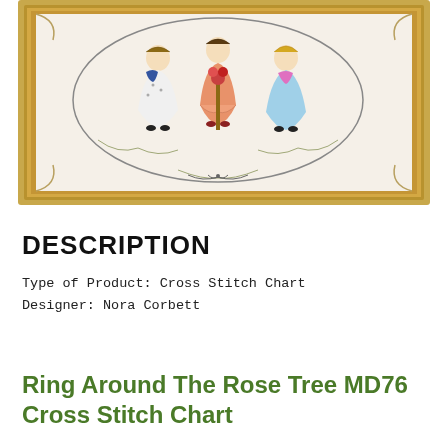[Figure (photo): A framed cross stitch artwork showing three Victorian-style girls in dresses (white with blue, peach/pink, and light blue) holding hands or dancing around a rose tree, surrounded by a decorative oval border with floral vines, set in a gold ornate frame.]
DESCRIPTION
Type of Product: Cross Stitch Chart
Designer: Nora Corbett
Ring Around The Rose Tree MD76 Cross Stitch Chart